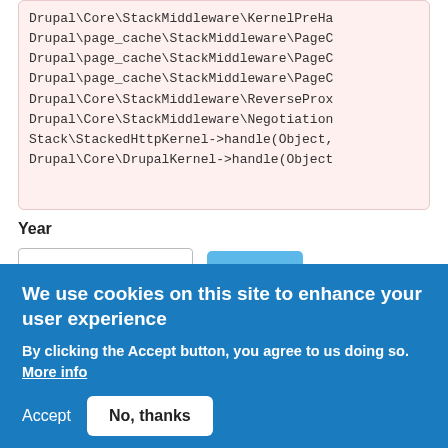Drupal\Core\StackMiddleware\KernelPreHa
Drupal\page_cache\StackMiddleware\PageC
Drupal\page_cache\StackMiddleware\PageC
Drupal\page_cache\StackMiddleware\PageC
Drupal\Core\StackMiddleware\ReverseProx
Drupal\Core\StackMiddleware\Negotiation
Stack\StackedHttpKernel->handle(Object,
Drupal\Core\DrupalKernel->handle(Object
Year
- Any -
Apply
Theme
- Any -
We use cookies on this site to enhance your user experience
By clicking the Accept button, you agree to us doing so. More info
Accept
No, thanks